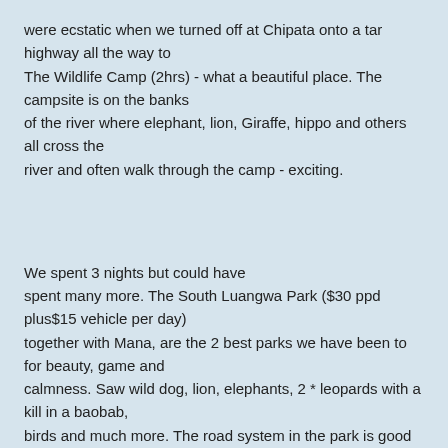were ecstatic when we turned off at Chipata onto a tar highway all the way to The Wildlife Camp (2hrs) - what a beautiful place. The campsite is on the banks of the river where elephant, lion, Giraffe, hippo and others all cross the river and often walk through the camp - exciting.
We spent 3 nights but could have spent many more. The South Luangwa Park ($30 ppd plus$15 vehicle per day) together with Mana, are the 2 best parks we have been to for beauty, game and calmness. Saw wild dog, lion, elephants, 2 * leopards with a kill in a baobab, birds and much more. The road system in the park is good and the entrance fees good value for money compared to Tanzanian parks. The Wildlife